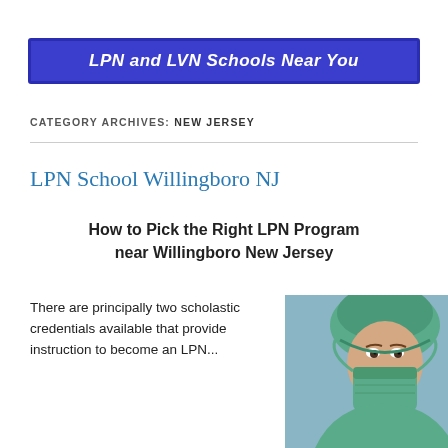LPN and LVN Schools Near You
CATEGORY ARCHIVES: NEW JERSEY
LPN School Willingboro NJ
How to Pick the Right LPN Program near Willingboro New Jersey
There are principally two scholastic credentials available that provide instruction to become an LPN...
[Figure (photo): Close-up photo of a nurse wearing a surgical mask and hair cap in teal/green colors]